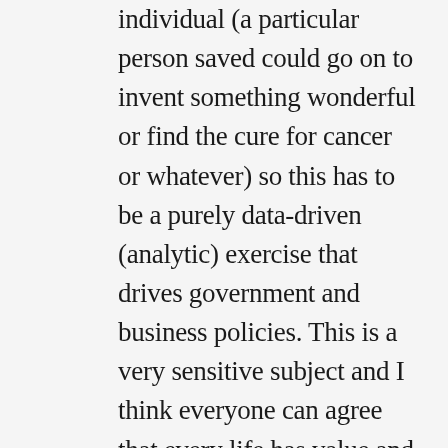individual (a particular person saved could go on to invent something wonderful or find the cure for cancer or whatever) so this has to be a purely data-driven (analytic) exercise that drives government and business policies. This is a very sensitive subject and I think everyone can agree that every life has value and there are moral issues at play, but we need to stay focused on the point of the cost/benefit analysis. Money spent to save lives has to come from somewhere (e.g., taxation, private investment) and there needs to be a return on such investment at a society level and furthermore we must remember the time scales on which we are working — decades. So future generations are affected too (e.g., burdening our kids with unsupportable government debt). Actuaries could really play an important role in helping elevate/calculate/disseminate this cost/benefit analysis obiective accurately but